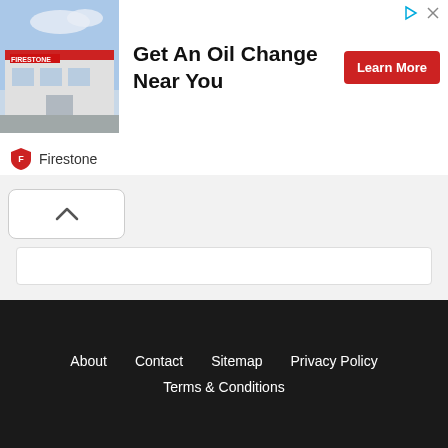[Figure (screenshot): Advertisement banner for Firestone showing a Firestone auto service building exterior, with headline 'Get An Oil Change Near You' and a red 'Learn More' button. Firestone logo appears below the image. Corner icons (play triangle and X) appear top right.]
[Figure (screenshot): Web page content area with a collapse/chevron-up button (white rounded rectangle, top left), and two white horizontal box placeholders below it on a light gray background.]
About   Contact   Sitemap   Privacy Policy   Terms & Conditions